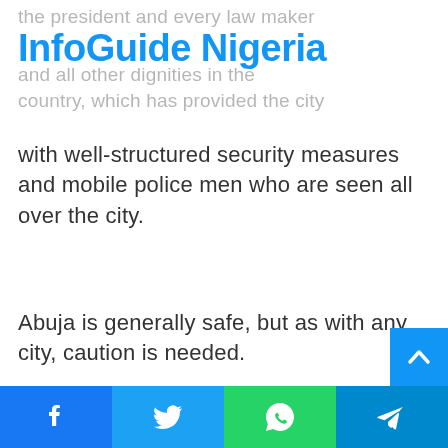the president and every law maker
InfoGuide Nigeria
and all other dignities in the country, which has provided the city with well-structured security measures and mobile police men who are seen all over the city.
Abuja is generally safe, but as with any city, caution is needed.
[Figure (other): Scroll-to-top button (blue square with up arrow)]
[Figure (other): Social media sharing bar with Facebook, Twitter, WhatsApp, and Telegram icons]